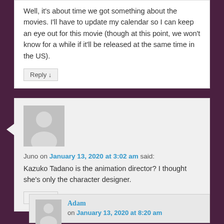Well, it's about time we got something about the movies. I'll have to update my calendar so I can keep an eye out for this movie (though at this point, we won't know for a while if it'll be released at the same time in the US).
Reply ↓
[Figure (illustration): Gray placeholder avatar image showing silhouette of a person (head and shoulders)]
Juno on January 13, 2020 at 3:02 am said:
Kazuko Tadano is the animation director? I thought she's only the character designer.
Reply ↓
[Figure (illustration): Small gray placeholder avatar image for user Adam]
Adam on January 13, 2020 at 8:20 am